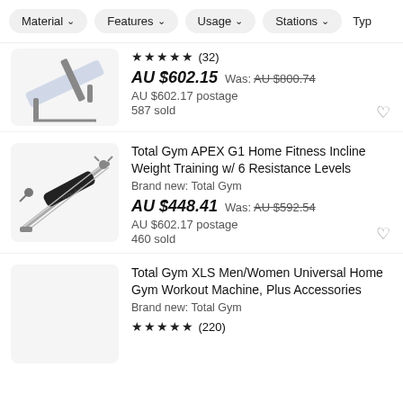Material  Features  Usage  Stations  Typ
[Figure (photo): Partial view of a fitness incline bench/gym machine]
★★★★★ (32)
AU $602.15  Was: AU $800.74
AU $602.17 postage
587 sold
Total Gym APEX G1 Home Fitness Incline Weight Training w/ 6 Resistance Levels
Brand new: Total Gym
AU $448.41  Was: AU $592.54
AU $602.17 postage
460 sold
Total Gym XLS Men/Women Universal Home Gym Workout Machine, Plus Accessories
Brand new: Total Gym
★★★★★ (220)